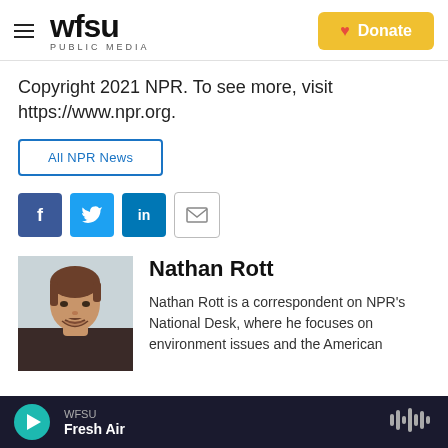WFSU PUBLIC MEDIA | Donate
Copyright 2021 NPR. To see more, visit https://www.npr.org.
All NPR News
[Figure (other): Social sharing icons: Facebook, Twitter, LinkedIn, Email]
[Figure (photo): Headshot of Nathan Rott, a man with short brown hair wearing a dark shirt]
Nathan Rott
Nathan Rott is a correspondent on NPR's National Desk, where he focuses on environment issues and the American
WFSU Fresh Air — audio player